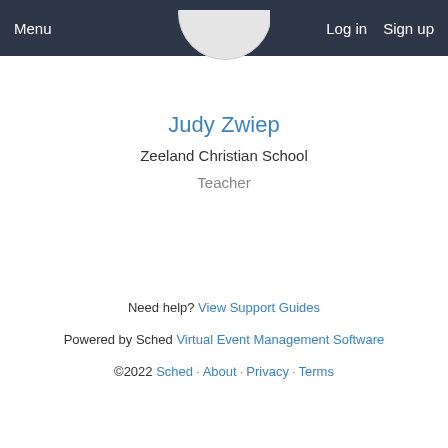Menu   Log in   Sign up
[Figure (illustration): Circular avatar placeholder, partially visible at top of page]
Judy Zwiep
Zeeland Christian School
Teacher
Need help? View Support Guides
Powered by Sched Virtual Event Management Software
©2022 Sched · About · Privacy · Terms